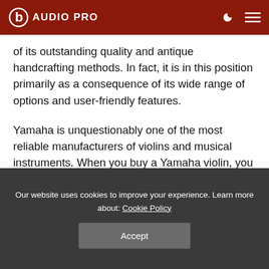AUDIO PRO
of its outstanding quality and antique handcrafting methods. In fact, it is in this position primarily as a consequence of its wide range of options and user-friendly features.
Yamaha is unquestionably one of the most reliable manufacturers of violins and musical instruments. When you buy a Yamaha violin, you
Our website uses cookies to improve your experience. Learn more about: Cookie Policy
Accept